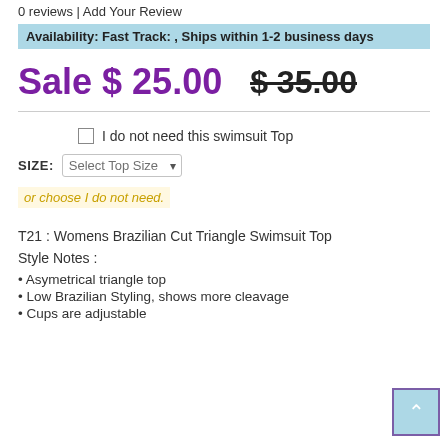0 reviews | Add Your Review
Availability: Fast Track: , Ships within 1-2 business days
Sale $ 25.00   $ 35.00
I do not need this swimsuit Top
SIZE: Select Top Size
or choose I do not need.
T21 : Womens Brazilian Cut Triangle Swimsuit Top
Style Notes :
Asymetrical triangle top
Low Brazilian Styling, shows more cleavage
Cups are adjustable